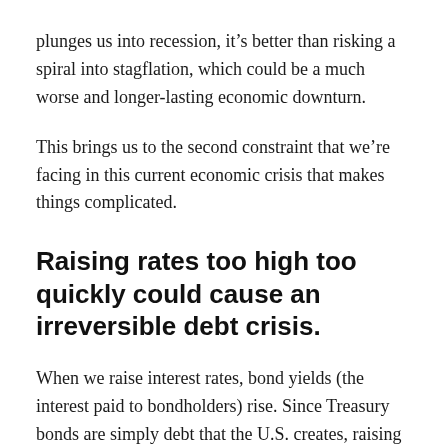plunges us into recession, it’s better than risking a spiral into stagflation, which could be a much worse and longer-lasting economic downturn.
This brings us to the second constraint that we’re facing in this current economic crisis that makes things complicated.
Raising rates too high too quickly could cause an irreversible debt crisis.
When we raise interest rates, bond yields (the interest paid to bondholders) rise. Since Treasury bonds are simply debt that the U.S. creates, raising interest rates